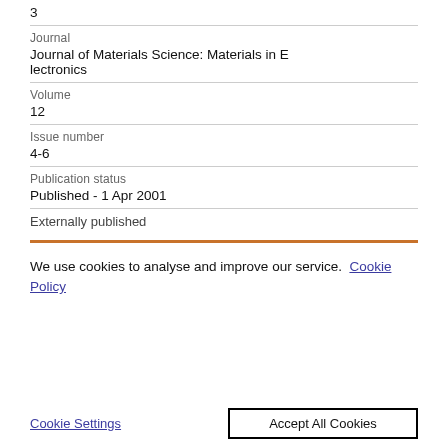3
Journal
Journal of Materials Science: Materials in Electronics
Volume
12
Issue number
4-6
Publication status
Published - 1 Apr 2001
Externally published
We use cookies to analyse and improve our service. Cookie Policy
Cookie Settings
Accept All Cookies